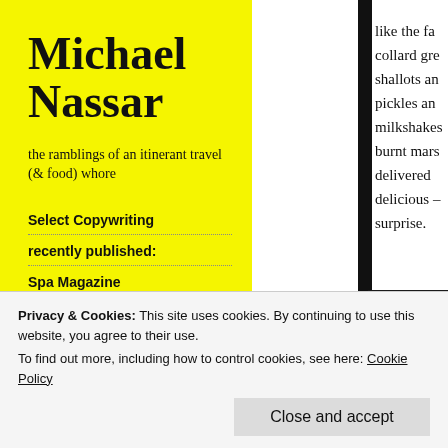Michael Nassar
the ramblings of an itinerant travel (& food) whore
Select Copywriting
recently published:
Spa Magazine
AsiaSpa
NY Daily News
Hemispheres
like the fa collard gre shallots an pickles an milkshakes burnt mars delivered delicious - surprise.
[Figure (photo): Partial photo visible at bottom right, appears to show food or a dish with warm tones]
Privacy & Cookies: This site uses cookies. By continuing to use this website, you agree to their use.
To find out more, including how to control cookies, see here: Cookie Policy
Close and accept